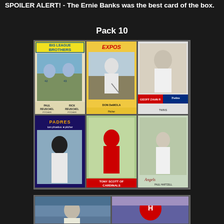SPOILER ALERT! - The Ernie Banks was the best card of the box.
Pack 10
[Figure (photo): Grid of 6 vintage baseball cards: Paul & Rick Reuschel (Big League Brothers), Don DeMola (Expos), Geoff Zahn (Twins), Tom Phoebus (Padres), Tony Scott (Cardinals), Paul Hartzell (Angels)]
[Figure (photo): Partial view of two more baseball cards from next pack, partially cut off at bottom]